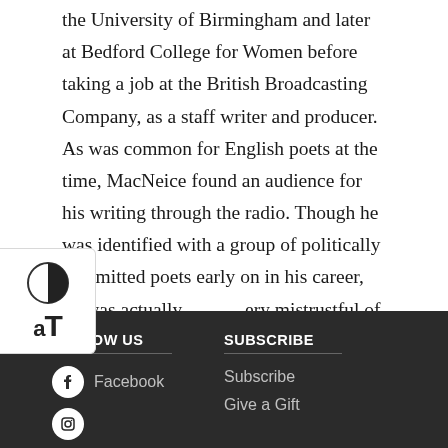the University of Birmingham and later at Bedford College for Women before taking a job at the British Broadcasting Company, as a staff writer and producer. As was common for English poets at the time, MacNeice found an audience for his writing through the radio. Though he was identified with a group of politically committed poets early on in his career, he was actually very mistrustful of politics and of philosophical systems. "My sympathies are Left," he once wrote. "But not in my heart or my guts."
FOLLOW US | SUBSCRIBE | Facebook | Subscribe | Give a Gift